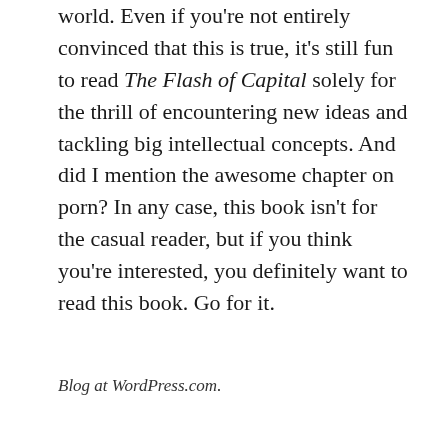world. Even if you're not entirely convinced that this is true, it's still fun to read The Flash of Capital solely for the thrill of encountering new ideas and tackling big intellectual concepts. And did I mention the awesome chapter on porn? In any case, this book isn't for the casual reader, but if you think you're interested, you definitely want to read this book. Go for it.
Blog at WordPress.com.